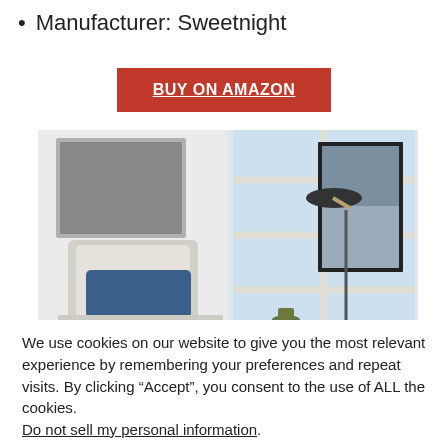Manufacturer: Sweetnight
BUY ON AMAZON
[Figure (photo): Bedroom/living room scene with a white upholstered headboard, blue decorative pillow, framed artwork on wall (left), and a floor lamp next to a framed picture by a bright window (right).]
We use cookies on our website to give you the most relevant experience by remembering your preferences and repeat visits. By clicking “Accept”, you consent to the use of ALL the cookies. Do not sell my personal information.
Cookie Settings
Accept